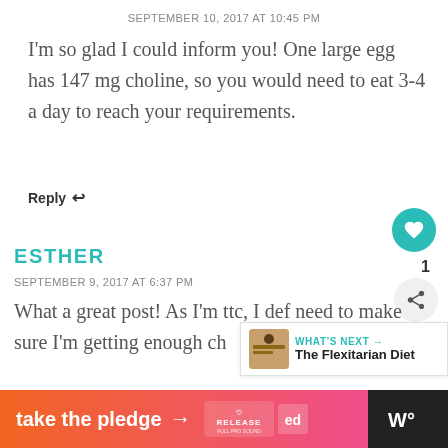SEPTEMBER 10, 2017 AT 10:45 PM
I'm so glad I could inform you! One large egg has 147 mg choline, so you would need to eat 3-4 a day to reach your requirements.
Reply ↩
ESTHER
SEPTEMBER 9, 2017 AT 6:37 PM
What a great post! As I'm ttc, I def need to make sure I'm getting enough choline in my diet!
[Figure (screenshot): What's Next panel showing The Flexitarian Diet with a thumbnail image]
[Figure (infographic): Advertisement banner: take the pledge arrow RELEASE logo and other logos on black background]